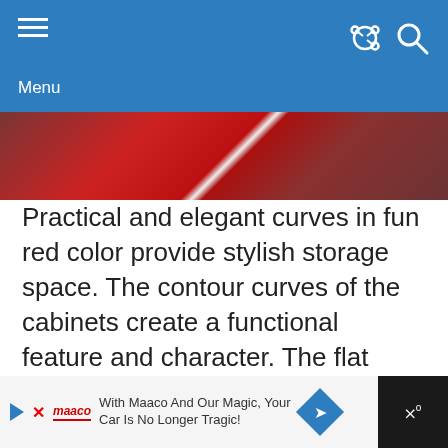Menu
[Figure (photo): Partial view of red curved kitchen cabinets with white countertop on wood-look tile flooring]
Practical and elegant curves in fun red color provide stylish storage space. The contour curves of the cabinets create a functional feature and character. The flat panel cabinetry in matte finish is so trendy that it is a far cry from the usual high gloss finish, yet still appears to be modish.  Raised bar, white solid surface countertop. built-in cook top, brushed nickel pull handles, stainless steel appliances and medium tone ceramic tile flooring are perfect elements for this design scheme.
With Maaco And Our Magic, Your Car Is No Longer Tragic!